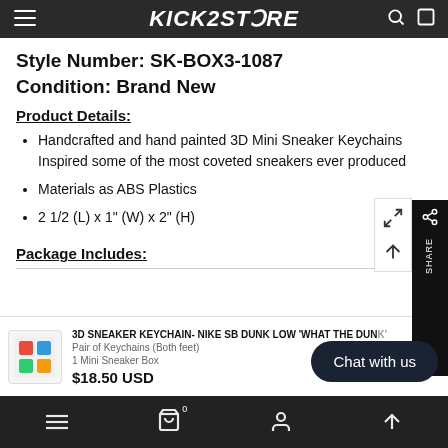Kick2Store (logo/nav bar)
Style Number: SK-BOX3-1087
Condition: Brand New
Product Details:
Handcrafted and hand painted 3D Mini Sneaker Keychains Inspired some of the most coveted sneakers ever produced
Materials as ABS Plastics
2 1/2 (L) x 1" (W) x 2" (H)
Package Includes:
3D SNEAKER KEYCHAIN- NIKE SB DUNK LOW 'WHAT THE DUNK'
Pair of Keychains (Both feet)
1 Mini Sneaker Box
$18.50 USD
Bottom navigation bar